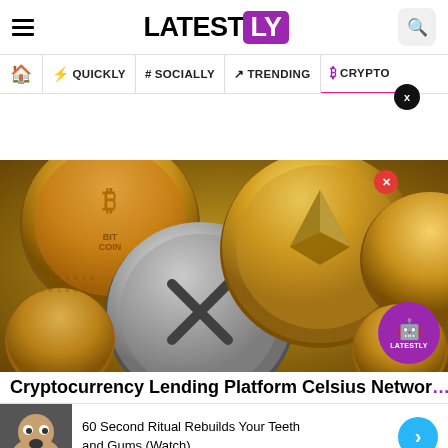LATESTLY
QUICKLY | # SOCIALLY | TRENDING | CRYPTO
[Figure (photo): Pile of gold and silver cryptocurrency coins including Bitcoin, Ethereum, and Ripple]
Cryptocurrency Lending Platform Celsius Networks
60 Second Ritual Rebuilds Your Teeth and Gums (Watch)